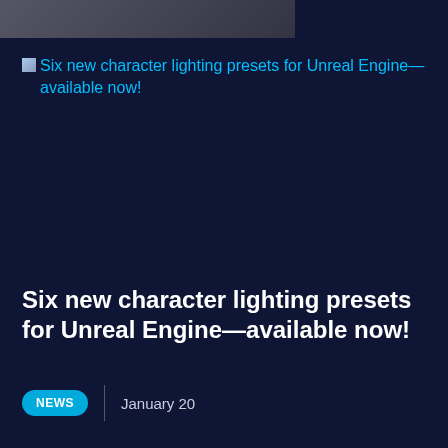[Figure (photo): Partial thumbnail image strip at the top of the card, showing a dark scene]
Six new character lighting presets for Unreal Engine—available now!
Six new character lighting presets for Unreal Engine—available now!
NEWS | January 20